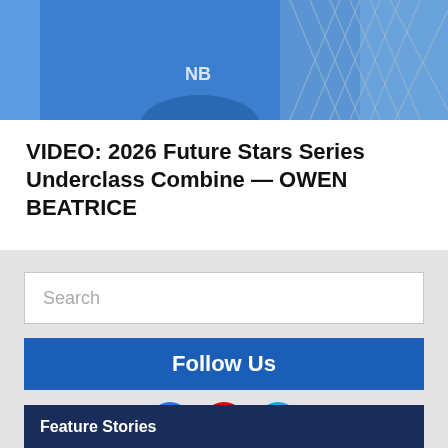[Figure (photo): Person wearing a blue New Balance sports shirt, with chain-link fence in background]
VIDEO: 2026 Future Stars Series Underclass Combine — OWEN BEATRICE
[Figure (screenshot): Search input box with placeholder text 'Search']
Follow Us
[Figure (infographic): Social media icons: Facebook (blue circle), YouTube (red circle), Twitter (light blue circle)]
Feature Stories